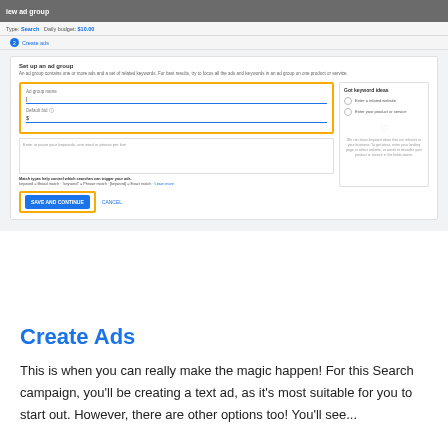[Figure (screenshot): Google Ads interface screenshot showing 'new ad group' setup page with fields for Ad group name, Default bid, keywords area, keyword match types info, Got keyword ideas panel, and a highlighted Save and Continue button.]
Create Ads
This is when you can really make the magic happen! For this Search campaign, you'll be creating a text ad, as it's most suitable for you to start out. However, there are other options too! You'll see...